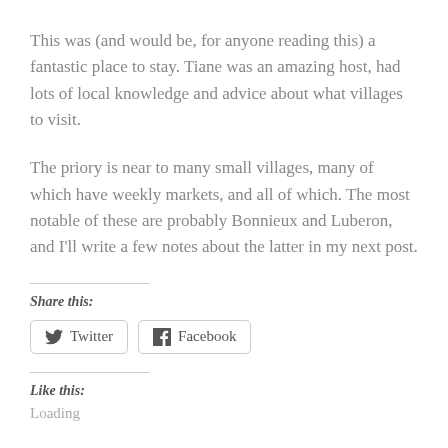This was (and would be, for anyone reading this) a fantastic place to stay. Tiane was an amazing host, had lots of local knowledge and advice about what villages to visit.
The priory is near to many small villages, many of which have weekly markets, and all of which. The most notable of these are probably Bonnieux and Luberon, and I'll write a few notes about the latter in my next post.
Share this:
Twitter  Facebook
Like this:
Loading